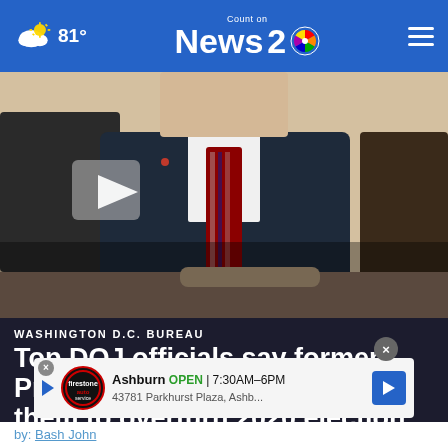81° Count on News 2 NBC
[Figure (screenshot): Video thumbnail showing a man in a dark suit with striped tie, seated in what appears to be an office setting. A play button is overlaid on the left side.]
WASHINGTON D.C. BUREAU
Top DOJ officials say former President Trump pressured them to overturn 2020 election results
[Figure (infographic): Advertisement bar: Firestone auto service. Ashburn OPEN 7:30AM-6PM 43781 Parkhurst Plaza, Ashb...]
by: Bash John